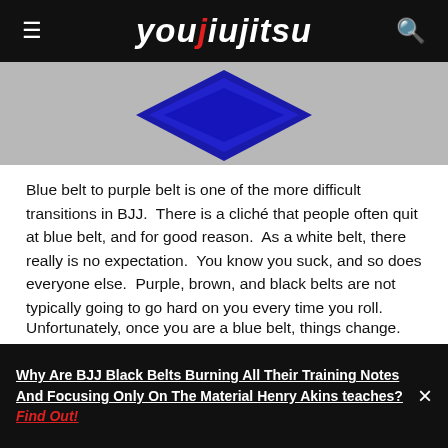youjiujitsu
[Figure (photo): Partial image of a blue BJJ belt against a grey background]
Blue belt to purple belt is one of the more difficult transitions in BJJ.  There is a cliché that people often quit at blue belt, and for good reason.  As a white belt, there really is no expectation.  You know you suck, and so does everyone else.  Purple, brown, and black belts are not typically going to go hard on you every time you roll.
Unfortunately, once you are a blue belt, things change.  Typical purple belts will turn the heat up.  White belts will want to beat you to earn their own blue belt.  Finally, when you roll with black belts and brown belts, you realize you still suck.
Why Are BJJ Black Belts Burning All Their Training Notes And Focusing Only On The Material Henry Akins teaches? Find Out!